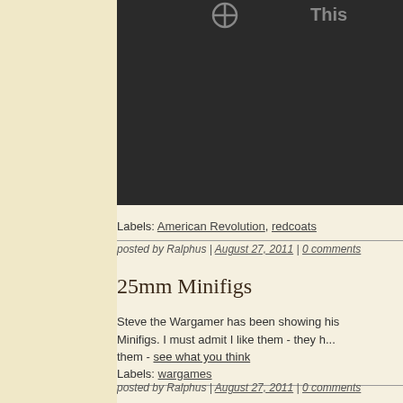[Figure (photo): Dark/black background image with a partial circle icon and text 'This' visible in upper right area]
Labels: American Revolution, redcoats
posted by Ralphus | August 27, 2011 | 0 comments
25mm Minifigs
Steve the Wargamer has been showing his Minifigs. I must admit I like them - they h... them - see what you think
Labels: wargames
posted by Ralphus | August 27, 2011 | 0 comments
White Plains